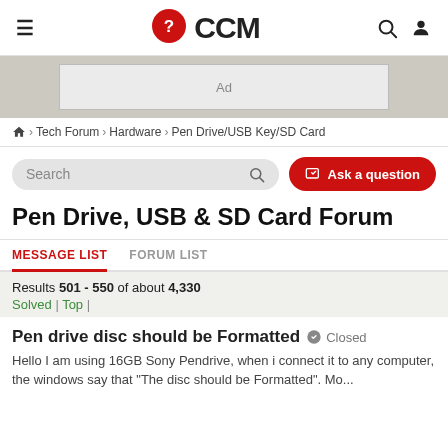CCM
[Figure (other): Ad banner placeholder]
Home > Tech Forum > Hardware > Pen Drive/USB Key/SD Card
Search | Ask a question
Pen Drive, USB & SD Card Forum
MESSAGE LIST  FORUM LIST
Results 501 - 550 of about 4,330
Solved | Top |
Pen drive disc should be Formatted  Closed
Hello I am using 16GB Sony Pendrive, when i connect it to any computer, the windows say that "The disc should be Formatted". Mo...